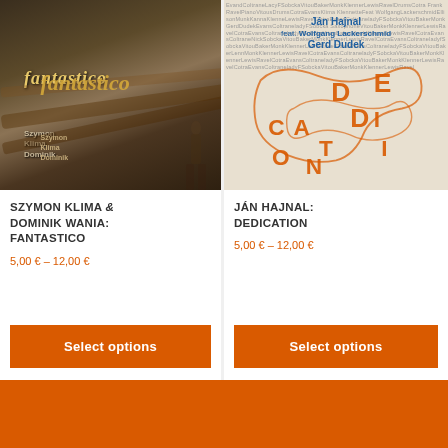[Figure (photo): Album cover for Szymon Klima & Dominik Wania: Fantastico - forest/nature scene with logs and figures in sepia tones, 'fantastico' text in gold italic]
SZYMON KLIMA & DOMINIK WANIA: FANTASTICO
5,00 € – 12,00 €
Select options
[Figure (photo): Album cover for Ján Hajnal: Dedication - typographic design with jazz musician names as background texture, large orange letters spelling DEDICATION with curvy path design, blue header with artist names]
JÁN HAJNAL: DEDICATION
5,00 € – 12,00 €
Select options